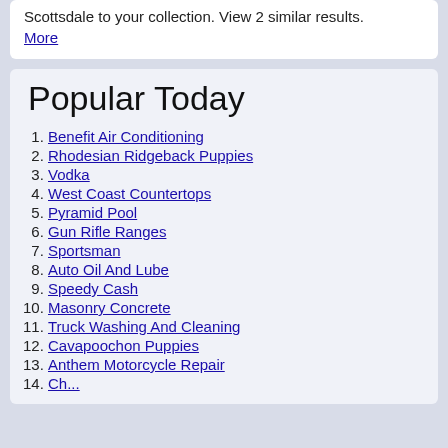Scottsdale to your collection. View 2 similar results. More
Popular Today
1. Benefit Air Conditioning
2. Rhodesian Ridgeback Puppies
3. Vodka
4. West Coast Countertops
5. Pyramid Pool
6. Gun Rifle Ranges
7. Sportsman
8. Auto Oil And Lube
9. Speedy Cash
10. Masonry Concrete
11. Truck Washing And Cleaning
12. Cavapoochon Puppies
13. Anthem Motorcycle Repair
14. ...